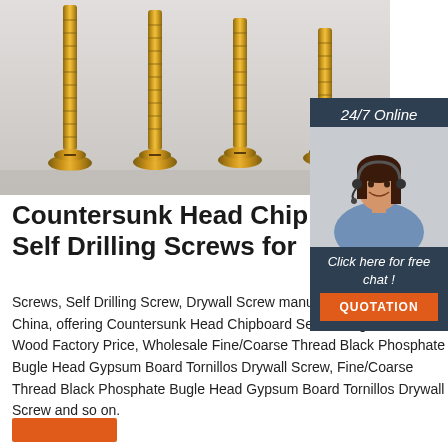[Figure (photo): Four gold/brass countersunk head chipboard screws standing upright against a light grey background]
[Figure (illustration): 24/7 Online chat widget with a female customer service agent wearing a headset, a 'Click here for free chat!' message, and an orange QUOTATION button]
Countersunk Head Chipboard Self Drilling Screws for
Screws, Self Drilling Screw, Drywall Screw manufacturer supplier in China, offering Countersunk Head Chipboard Self Drilling Screws for Wood Factory Price, Wholesale Fine/Coarse Thread Black Phosphate Bugle Head Gypsum Board Tornillos Drywall Screw, Fine/Coarse Thread Black Phosphate Bugle Head Gypsum Board Tornillos Drywall Screw and so on.